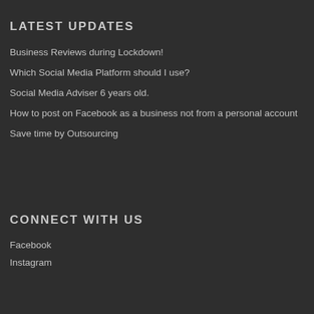LATEST UPDATES
Business Reviews during Lockdown!
Which Social Media Platform should I use?
Social Media Adviser 6 years old.
How to post on Facebook as a business not from a personal account
Save time by Outsourcing
CONNECT WITH US
Facebook
Instagram